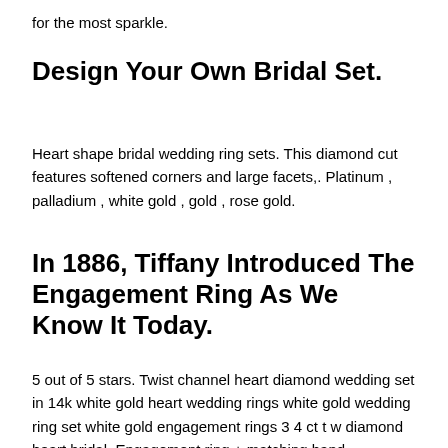for the most sparkle.
Design Your Own Bridal Set.
Heart shape bridal wedding ring sets. This diamond cut features softened corners and large facets,. Platinum , palladium , white gold , gold , rose gold.
In 1886, Tiffany Introduced The Engagement Ring As We Know It Today.
5 out of 5 stars. Twist channel heart diamond wedding set in 14k white gold heart wedding rings white gold wedding ring set white gold engagement rings 3 4 ct t w diamond heart bridal. Engagement ring + matching band.